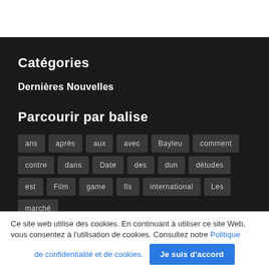Catégories
Dernières Nouvelles
Parcourir par balise
ans
après
aux
avec
Bayleu
comment
contre
dans
Date
des
dun
détudes
est
Film
game
Ils
international
Les
marché
Ce site web utilise des cookies. En continuant à utiliser ce site Web, vous consentez à l'utilisation de cookies. Consultez notre Politique de confidentialité et de cookies.
Je suis d'accord